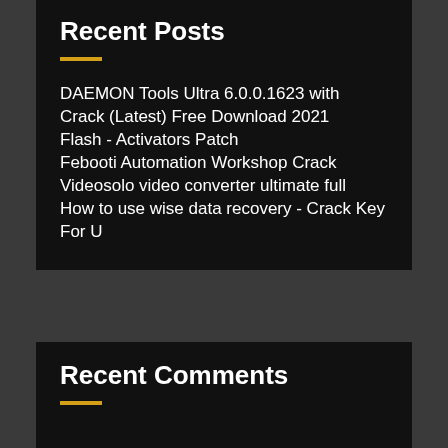Recent Posts
DAEMON Tools Ultra 6.0.0.1623 with Crack (Latest) Free Download 2021
Flash - Activators Patch
Febooti Automation Workshop Crack
Videosolo video converter ultimate full
How to use wise data recovery - Crack Key For U
Recent Comments